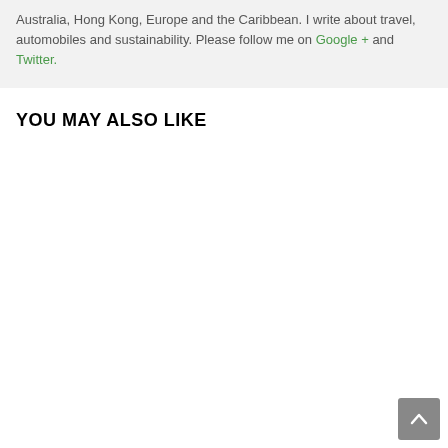Australia, Hong Kong, Europe and the Caribbean. I write about travel, automobiles and sustainability. Please follow me on Google + and Twitter.
YOU MAY ALSO LIKE